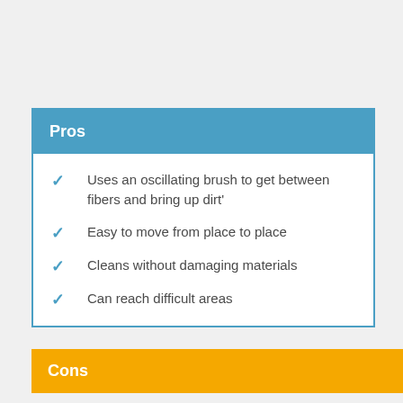Pros
Uses an oscillating brush to get between fibers and bring up dirt'
Easy to move from place to place
Cleans without damaging materials
Can reach difficult areas
Cons